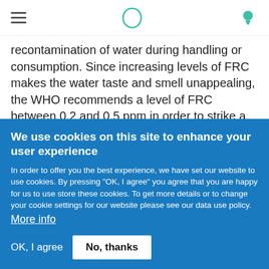≡  [logo icon]  [bulb icon]
recontamination of water during handling or consumption. Since increasing levels of FRC makes the water taste and smell unappealing, the WHO recommends a level of FRC between 0.2 and 0.5 ppm in order to strike a balance between disinfection and water taste and smell. 0.5 ppm is the level of FRC that the WHO recommends as striking the balance between
We use cookies on this site to enhance your user experience
In order to offer you the best experience, we have set our website to use cookies. By pressing "OK, I agree" you agree that you are happy for us to use store these cookies. To get more details or to change your cookie settings for our website please see our data use policy. More info
OK, I agree   No, thanks